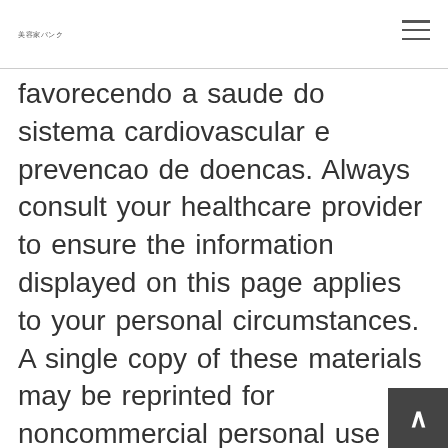美容家パンク
favorecendo a saude do sistema cardiovascular e prevencao de doencas. Always consult your healthcare provider to ensure the information displayed on this page applies to your personal circumstances. A single copy of these materials may be reprinted for noncommercial personal use only. Hence, this study was performed to determine the effects of high dose administration of BOL on body weight bwt, reproductive organ weight, semen characteristics, serum